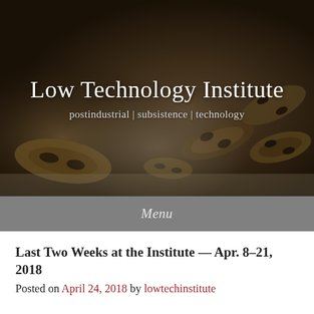[Figure (photo): Close-up photograph of honeybees on a surface, serving as the hero background image for the Low Technology Institute website header.]
Low Technology Institute
postindustrial | subsistence | technology
Menu
Last Two Weeks at the Institute — Apr. 8–21, 2018
Posted on April 24, 2018 by lowtechinstitute
It's been a busy two weeks at the Low Technology